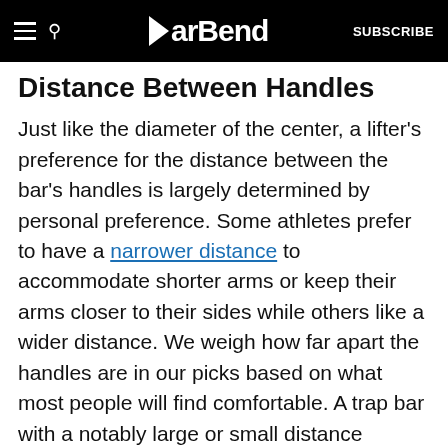BarBend — SUBSCRIBE
Distance Between Handles
Just like the diameter of the center, a lifter's preference for the distance between the bar's handles is largely determined by personal preference. Some athletes prefer to have a narrower distance to accommodate shorter arms or keep their arms closer to their sides while others like a wider distance. We weigh how far apart the handles are in our picks based on what most people will find comfortable. A trap bar with a notably large or small distance between the handles may